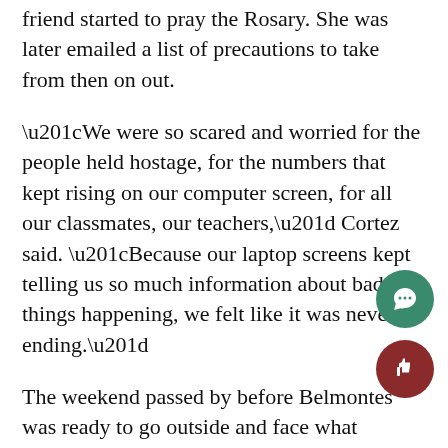friend started to pray the Rosary. She was later emailed a list of precautions to take from then on out.
“We were so scared and worried for the people held hostage, for the numbers that kept rising on our computer screen, for all our classmates, our teachers,” Cortez said. “Because our laptop screens kept telling us so much information about bad things happening, we felt like it was never ending.”
The weekend passed by before Belmontes was ready to go outside and face what happened.
“I went out to see the Eiffel Tower shining with the colors of the French flag,” Belmontes said. “While it was a beautiful sight, it was also heart-wrenching to know the reason why the colors were different.”
After wanting to live in Paris since she was eight, Zeck said she won’t let the attacks take away from her